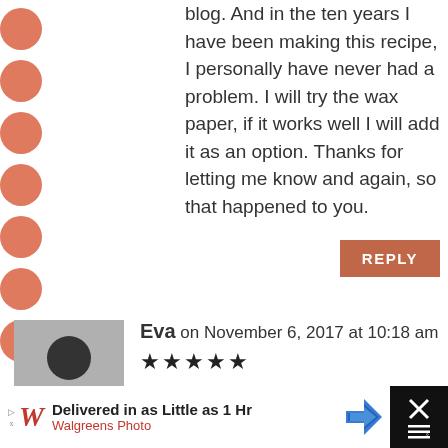blog. And in the ten years I have been making this recipe, I personally have never had a problem. I will try the wax paper, if it works well I will add it as an option. Thanks for letting me know and again, so that happened to you.
REPLY
Eva on November 6, 2017 at 10:18 am
[Figure (illustration): Gray placeholder avatar with white silhouette of a person]
★★★★★
This recipe inspired me to make homemade pasta for the first time. So worth the effort!
REPLY
Delivered in as Little as 1 Hr Walgreens Photo